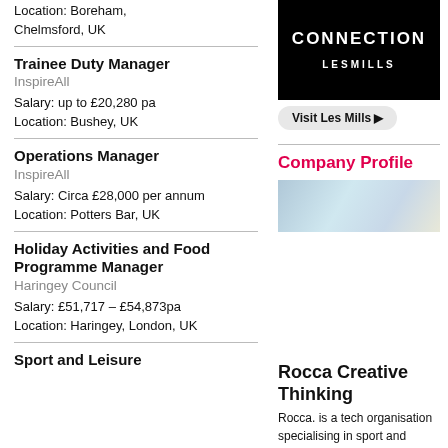Location: Boreham, Chelmsford, UK
Trainee Duty Manager
InspireAll
Salary: up to £20,280 pa
Location: Bushey, UK
Operations Manager
InspireAll
Salary: Circa £28,000 per annum
Location: Potters Bar, UK
Holiday Activities and Food Programme Manager
Haringey Council
Salary: £51,717 – £54,873pa
Location: Haringey, London, UK
Sport and Leisure
[Figure (logo): Les Mills Connection logo on black background with LesMills branding]
Visit Les Mills ▶
Company Profile
[Figure (photo): Interior photo of a sports/leisure facility]
Rocca Creative Thinking
Rocca. is a tech organisation specialising in sport and physical activity. It works with